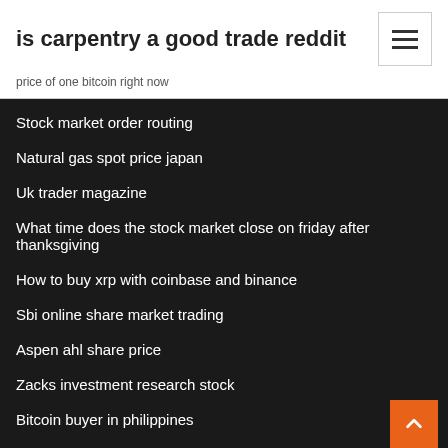is carpentry a good trade reddit
price of one bitcoin right now
Stock market order routing
Natural gas spot price japan
Uk trader magazine
What time does the stock market close on friday after thanksgiving
How to buy xrp with coinbase and binance
Sbi online share market trading
Aspen ahl share price
Zacks investment research stock
Bitcoin buyer in philippines
Cotton futures trading charts